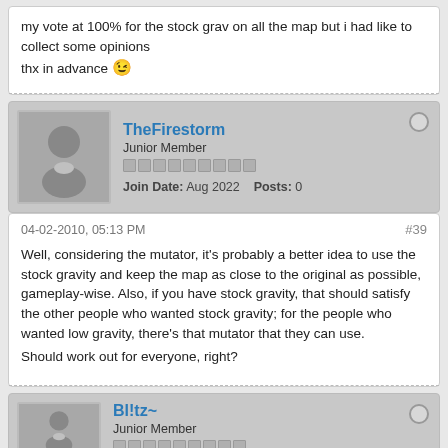my vote at 100% for the stock grav on all the map but i had like to collect some opinions
thx in advance 🙂
TheFirestorm
Junior Member
Join Date: Aug 2022   Posts: 0
04-02-2010, 05:13 PM   #39
Well, considering the mutator, it's probably a better idea to use the stock gravity and keep the map as close to the original as possible, gameplay-wise. Also, if you have stock gravity, that should satisfy the other people who wanted stock gravity; for the people who wanted low gravity, there's that mutator that they can use.

Should work out for everyone, right?
Bl!tz~
Junior Member